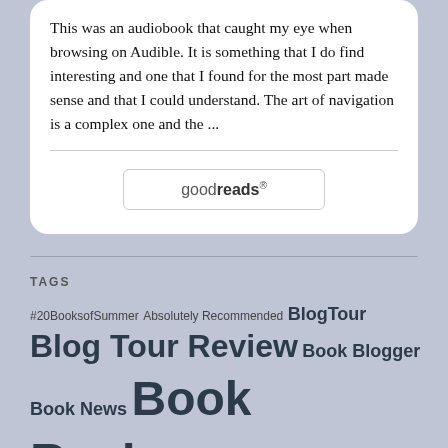This was an audiobook that caught my eye when browsing on Audible. It is something that I do find interesting and one that I found for the most part made sense and that I could understand. The art of navigation is a complex one and the ...
[Figure (logo): goodreads logo in a rounded rectangle button]
TAGS
#20BooksofSummer Absolutely Recommended BlogTour Blog Tour Review Book Blogger Book News Book Review Book Updates Contemporary Fiction Crime Definitely Recommend